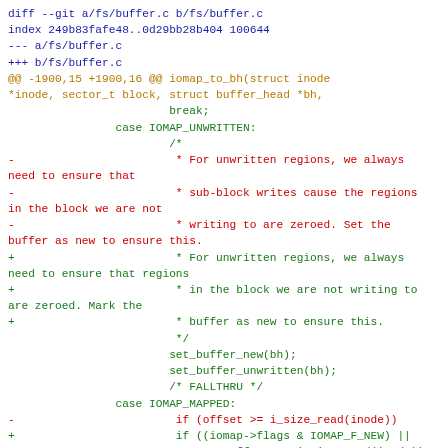diff --git a/fs/buffer.c b/fs/buffer.c
index 249b83fafe48..0d29bb28b404 100644
--- a/fs/buffer.c
+++ b/fs/buffer.c
@@ -1900,15 +1900,16 @@ iomap_to_bh(struct inode *inode, sector_t block, struct buffer_head *bh,
                         break;
                 case IOMAP_UNWRITTEN:
                         /*
-                         * For unwritten regions, we always need to ensure that
-                         * sub-block writes cause the regions in the block we are not
-                         * writing to are zeroed. Set the buffer as new to ensure this.
+                         * For unwritten regions, we always need to ensure that regions
+                         * in the block we are not writing to are zeroed. Mark the
+                         * buffer as new to ensure this.
                          */
                         set_buffer_new(bh);
                         set_buffer_unwritten(bh);
                         /* FALLTHRU */
                 case IOMAP_MAPPED:
-                         if (offset >= i_size_read(inode))
+                         if ((iomap->flags & IOMAP_F_NEW) ||
+                                 offset >= i_size_read(inode))
                                 set_buffer_new(bh);